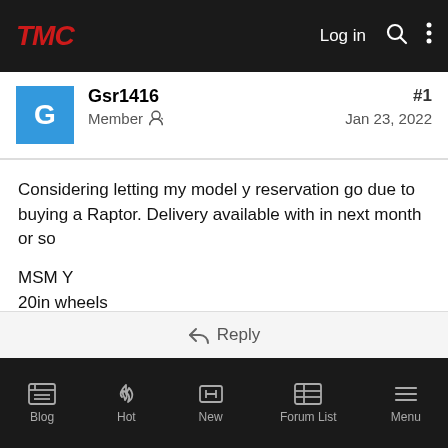TMC  Log in
Gsr1416
Member
#1
Jan 23, 2022
Considering letting my model y reservation go due to buying a Raptor. Delivery available with in next month or so

MSM Y
20in wheels
White interior

Pm me if interested
Blog  Hot  New  Forum List  Menu